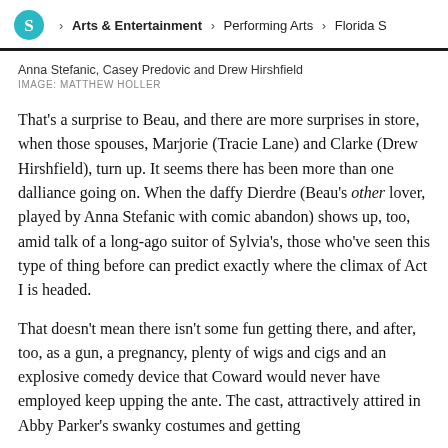S > Arts & Entertainment > Performing Arts > Florida S
Anna Stefanic, Casey Predovic and Drew Hirshfield
IMAGE: MATTHEW HOLLER
That's a surprise to Beau, and there are more surprises in store, when those spouses, Marjorie (Tracie Lane) and Clarke (Drew Hirshfield), turn up. It seems there has been more than one dalliance going on. When the daffy Dierdre (Beau's other lover, played by Anna Stefanic with comic abandon) shows up, too, amid talk of a long-ago suitor of Sylvia's, those who've seen this type of thing before can predict exactly where the climax of Act I is headed.
That doesn't mean there isn't some fun getting there, and after, too, as a gun, a pregnancy, plenty of wigs and cigs and an explosive comedy device that Coward would never have employed keep upping the ante. The cast, attractively attired in Abby Parker's swanky costumes and getting